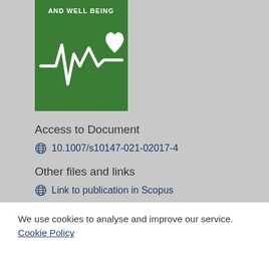[Figure (illustration): SDG 3 Good Health and Well Being icon — green square with white ECG/heartbeat line and heart symbol, and text 'AND WELL BEING' at top]
Access to Document
10.1007/s10147-021-02017-4
Other files and links
Link to publication in Scopus
Link to the citations in Scopus
We use cookies to analyse and improve our service. Cookie Policy